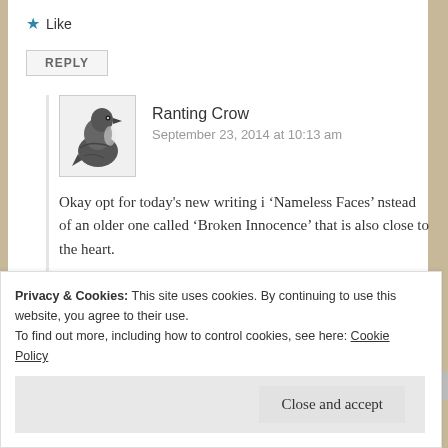★ Like
REPLY
Ranting Crow
September 23, 2014 at 10:13 am
Okay opt for today's new writing i ‘Nameless Faces’ nstead of an older one called ‘Broken Innocence’ that is also close to the heart.
★ Liked by 1 person
Privacy & Cookies: This site uses cookies. By continuing to use this website, you agree to their use.
To find out more, including how to control cookies, see here: Cookie Policy
Close and accept